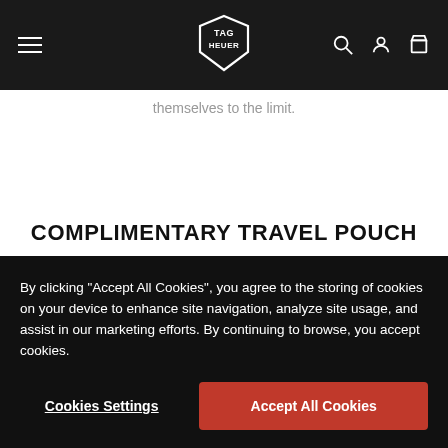TAG Heuer navigation bar with hamburger menu, logo, search, account, and cart icons
themselves to the limit.
COMPLIMENTARY TRAVEL POUCH
Receive our exclusive packaging and a complimentary
By clicking “Accept All Cookies”, you agree to the storing of cookies on your device to enhance site navigation, analyze site usage, and assist in our marketing efforts. By continuing to browse, you accept cookies.
Cookies Settings
Accept All Cookies